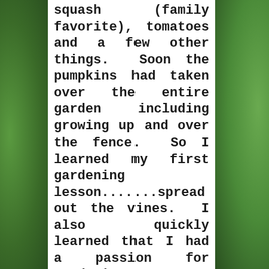squash (family favorite), tomatoes and a few other things.  Soon the pumpkins had taken over the entire garden including growing up and over the fence.  So I learned my first gardening lesson.......spread out the vines.  I also quickly learned that I had a passion for gardening.
So as the years continued, we experimented with more things, some successful and some not. Gardening is work; it is